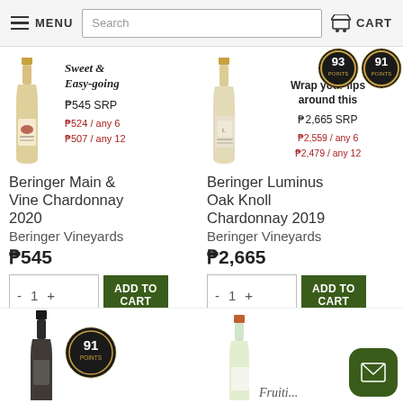MENU  Search  CART
[Figure (photo): Wine bottle - Beringer Main & Vine Chardonnay 2020, white wine bottle with gold cap]
Sweet & Easy-going
₱545 SRP
₱524 / any 6
₱507 / any 12
[Figure (photo): Wine bottle - Beringer Luminus Oak Knoll Chardonnay 2019, white wine bottle with gold cap, two award badges visible]
Wrap your lips around this
₱2,665 SRP
₱2,559 / any 6
₱2,479 / any 12
Beringer Main & Vine Chardonnay 2020
Beringer Vineyards
₱545
Beringer Luminus Oak Knoll Chardonnay 2019
Beringer Vineyards
₱2,665
[Figure (photo): Partial wine bottle at bottom left - dark bottle with black cap]
[Figure (infographic): Award badge with score 91]
[Figure (photo): Partial wine bottle at bottom right - light bottle with orange/copper cap]
Fruiti...